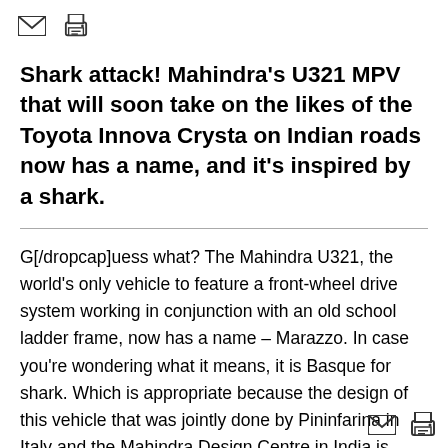[Figure (other): Email envelope icon and printer icon in top-left corner]
Shark attack! Mahindra’s U321 MPV that will soon take on the likes of the Toyota Innova Crysta on Indian roads now has a name, and it’s inspired by a shark.
G[/dropcap]uess what? The Mahindra U321, the world’s only vehicle to feature a front-wheel drive system working in conjunction with an old school ladder frame, now has a name – Marazzo. In case you’re wondering what it means, it is Basque for shark. Which is appropriate because the design of this vehicle that was jointly done by Pininfarina in Italy and the Mahindra Design Centre in India is inspired by a shark’s athletic form. As a matter of fact, the teaser images released by the company certainly show individual elements of design, like the tail lamps and the grille, bearing resemblance to shark bits. Engineering of the vehicle is jointly done by Mahindra
[Figure (other): Email envelope icon and printer icon in bottom-right corner]